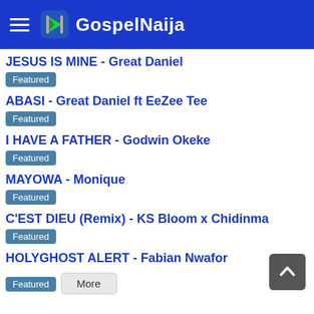GospelNaija
JESUS IS MINE - Great Daniel
Featured
ABASI - Great Daniel ft EeZee Tee
Featured
I HAVE A FATHER - Godwin Okeke
Featured
MAYOWA - Monique
Featured
C'EST DIEU (Remix) - KS Bloom x Chidinma
Featured
HOLYGHOST ALERT - Fabian Nwafor
Featured
More